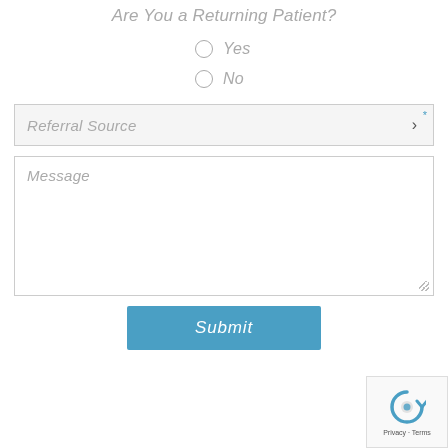Are You a Returning Patient?
Yes
No
Referral Source
Message
Submit